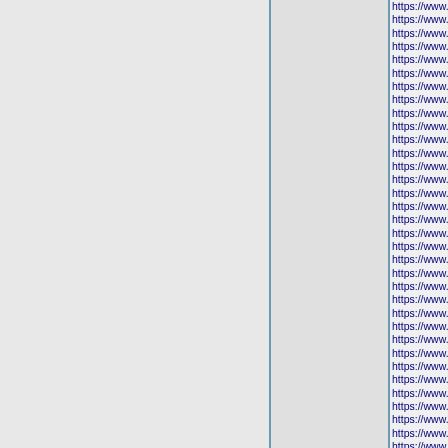https://www.yeezyshoess.us.co
https://www.pandoracharmsco
https://www.newnikeshoes.us.c
https://www.nikeoutletstores.us
https://www.pandoracharmscz.
https://www.airjordanssneakers
https://www.nikes-sneakers.us.
https://www.adidass.us.com/ Ad
https://www.nikeairforce.us.org
https://www.nike-zoom.us.com/
https://www.lebronjamesshoess
https://www.pandoracom.ca/ Pa
https://www.fjallravenkankenba
https://www.bestbasketballshoe
https://www.christian-louboutin
https://www.nikesneakersoutlet
https://www.nikeoutletstore-onli
https://www.nikestores.us.org/ N
https://www.outletstoreonlinesh
https://www.nmdxr1.us.com/ NM
https://www.pandorasrings.us.c
https://www.nikehuaraches.us.c
https://www.nikeoutletonlinecle
https://www.kyrie-irvingshoes.u
https://www.christian-louboutin-
https://www.asicsshoesoutlet.us
https://www.lebron16shoes.us/
https://www.nflgear.us.org/ NFL
https://www.christianlouboutins.
https://www.nflfootballjerseys.u
https://www.ultra-boost.us.org/
https://www.pandorafactory.us.c
https://www.adidassuperstars.u
https://www.mlbshops.us.org/ M
https://www.pandora-earrings.u
https://www.newshoes2019.us/
https://www.airjordans-sneake